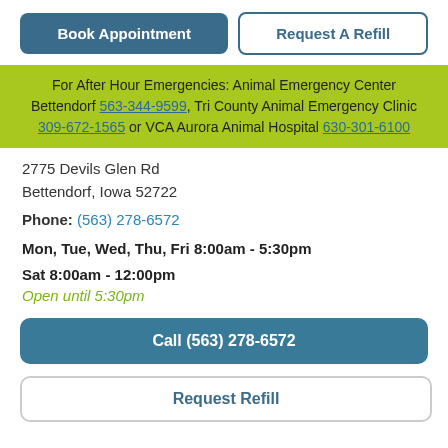Book Appointment | Request A Refill
For After Hour Emergencies: Animal Emergency Center Bettendorf 563-344-9599, Tri County Animal Emergency Clinic 309-672-1565 or VCA Aurora Animal Hospital 630-301-6100
2775 Devils Glen Rd
Bettendorf, Iowa 52722
Phone: (563) 278-6572
Mon, Tue, Wed, Thu, Fri 8:00am - 5:30pm
Sat 8:00am - 12:00pm
Open until 5:30pm
Call (563) 278-6572
Request Refill